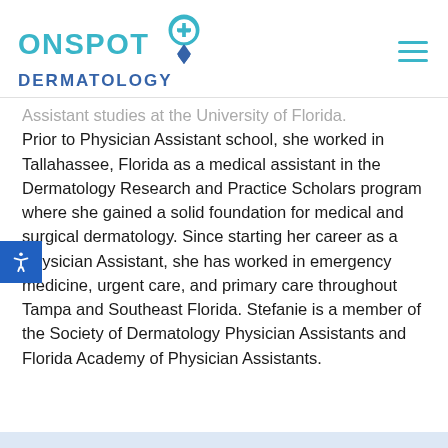[Figure (logo): OnSpot Dermatology logo with teal ONSPOT text, map pin icon with plus sign, and blue DERMATOLOGY text]
Assistant studies at the University of Florida. Prior to Physician Assistant school, she worked in Tallahassee, Florida as a medical assistant in the Dermatology Research and Practice Scholars program where she gained a solid foundation for medical and surgical dermatology. Since starting her career as a Physician Assistant, she has worked in emergency medicine, urgent care, and primary care throughout Tampa and Southeast Florida. Stefanie is a member of the Society of Dermatology Physician Assistants and Florida Academy of Physician Assistants.